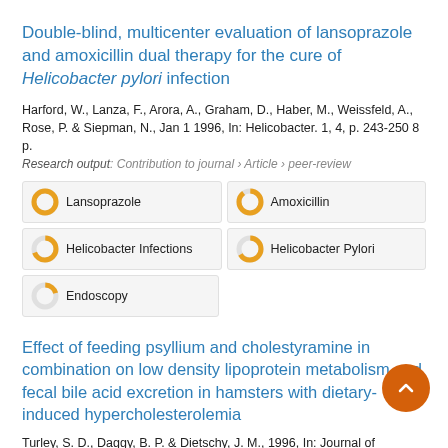Double-blind, multicenter evaluation of lansoprazole and amoxicillin dual therapy for the cure of Helicobacter pylori infection
Harford, W., Lanza, F., Arora, A., Graham, D., Haber, M., Weissfeld, A., Rose, P. & Siepman, N., Jan 1 1996, In: Helicobacter. 1, 4, p. 243-250 8 p.
Research output: Contribution to journal › Article › peer-review
Lansoprazole
Amoxicillin
Helicobacter Infections
Helicobacter Pylori
Endoscopy
Effect of feeding psyllium and cholestyramine in combination on low density lipoprotein metabolism and fecal bile acid excretion in hamsters with dietary-induced hypercholesterolemia
Turley, S. D., Daggy, B. P. & Dietschy, J. M., 1996, In: Journal of Cardiovascular Pharmacology. 27, 1, p. 71-79 9 p.